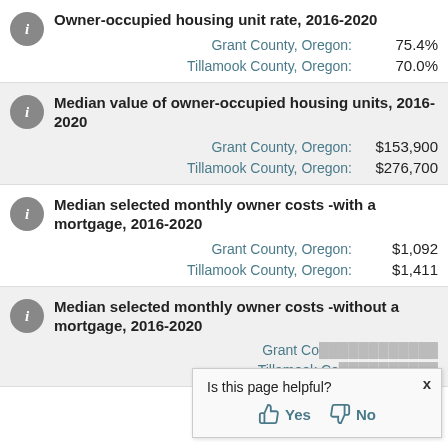Owner-occupied housing unit rate, 2016-2020
Grant County, Oregon: 75.4%
Tillamook County, Oregon: 70.0%
Median value of owner-occupied housing units, 2016-2020
Grant County, Oregon: $153,900
Tillamook County, Oregon: $276,700
Median selected monthly owner costs -with a mortgage, 2016-2020
Grant County, Oregon: $1,092
Tillamook County, Oregon: $1,411
Median selected monthly owner costs -without a mortgage, 2016-2020
Grant County, Oregon: [partially obscured]
Tillamook County, Oregon: [partially obscured]
Is this page helpful? Yes No